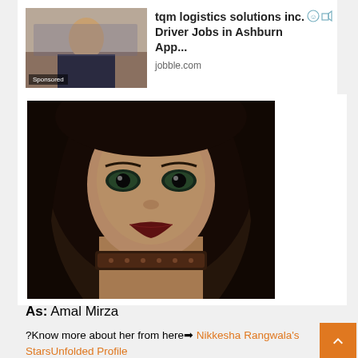[Figure (other): Sponsored ad for tqm logistics solutions inc. Driver Jobs in Ashburn App on jobble.com with thumbnail photo of woman]
[Figure (photo): Portrait photo of Nikkesha Rangwala as Amal Mirza — a young woman with long dark hair, green eyes, dark red lips, wearing an ornate choker necklace]
As: Amal Mirza
?Know more about her from here➡ Nikkesha Rangwala's StarsUnfolded Profile
Farida Dadi
[Figure (other): Sponsored ad for crowe General Operational Manager Jobs in Ashburn on jobble.com with thumbnail of people at laptops]